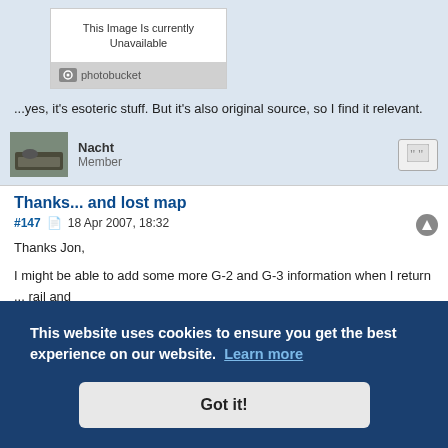[Figure (screenshot): Photobucket image placeholder showing 'This Image Is currently Unavailable' with photobucket logo]
...yes, it's esoteric stuff. But it's also original source, so I find it relevant.
Nacht
Member
Thanks... and lost map
#147  18 Apr 2007, 18:32
Thanks Jon,
I might be able to add some more G-2 and G-3 information when I return ... rail and ... the war ... a larger ... also gives ... ries that I had shared with you.
This website uses cookies to ensure you get the best experience on our website. Learn more
Got it!